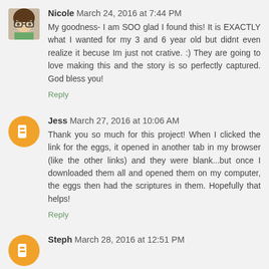Nicole  March 24, 2016 at 7:44 PM
My goodness- I am SOO glad I found this! It is EXACTLY what I wanted for my 3 and 6 year old but didnt even realize it becuse Im just not crative. :) They are going to love making this and the story is so perfectly captured. God bless you!
Reply
Jess  March 27, 2016 at 10:06 AM
Thank you so much for this project! When I clicked the link for the eggs, it opened in another tab in my browser (like the other links) and they were blank...but once I downloaded them all and opened them on my computer, the eggs then had the scriptures in them. Hopefully that helps!
Reply
Steph  March 28, 2016 at 12:51 PM